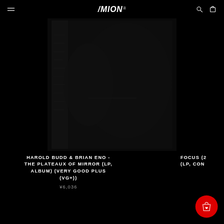MION
[Figure (photo): Dark album cover product image for Harold Budd & Brian Eno - The Plateaux of Mirror, mostly black with faint artistic imagery]
HAROLD BUDD & BRIAN ENO - THE PLATEAUX OF MIRROR (LP, ALBUM) (VERY GOOD PLUS (VG+))
¥6,036
FOCUS (2 (LP, CON